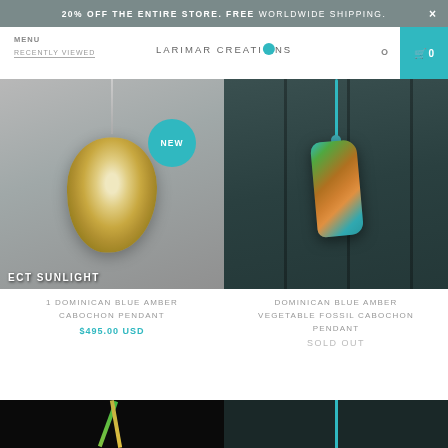20% OFF THE ENTIRE STORE. FREE WORLDWIDE SHIPPING.
MENU | RECENTLY VIEWED | LARIMAR CREATIONS | 🔍 | Cart 0
[Figure (photo): Opalite/moonstone cabochon pendant on chain, golden and translucent, with NEW badge overlay and text ECT SUNLIGHT at bottom]
[Figure (photo): Dominican blue amber vegetable fossil cabochon pendant on teal cord, resting on dark wooden slats]
1 DOMINICAN BLUE AMBER CABOCHON PENDANT
$495.00 USD
DOMINICAN BLUE AMBER VEGETABLE FOSSIL CABOCHON PENDANT
SOLD OUT
[Figure (photo): Partial view of jewelry item on dark background, bottom of page]
[Figure (photo): Partial view of jewelry item on dark teal background, bottom of page]